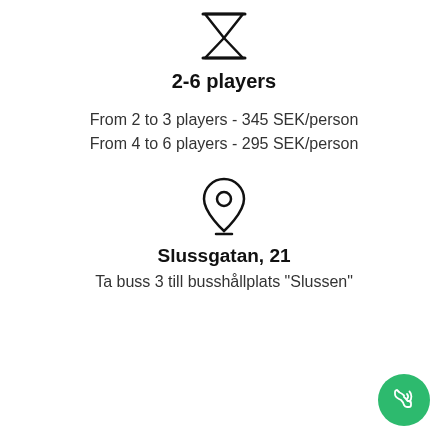[Figure (illustration): Hourglass/timer icon at top center]
2-6 players
From 2 to 3 players - 345 SEK/person
From 4 to 6 players - 295 SEK/person
[Figure (illustration): Location pin icon]
Slussgatan, 21
Ta buss 3 till busshållplats "Slussen"
[Figure (illustration): Green circular phone/call button in bottom right corner]